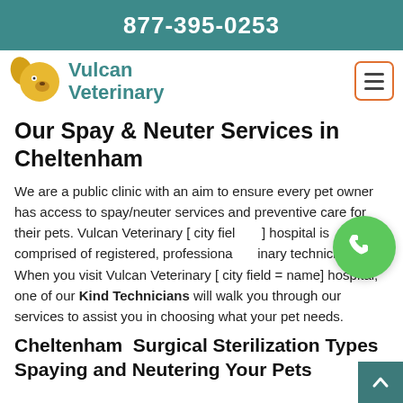877-395-0253
[Figure (logo): Vulcan Veterinary logo with golden dog head silhouette and teal brand name text]
Our Spay & Neuter Services in Cheltenham
We are a public clinic with an aim to ensure every pet owner has access to spay/neuter services and preventive care for their pets. Vulcan Veterinary [ city field = e] hospital is comprised of registered, professional inary technicians. When you visit Vulcan Veterinary [ city field = name] hospital, one of our Kind Technicians will walk you through our services to assist you in choosing what your pet needs.
Cheltenham  Surgical Sterilization Types Spaying and Neutering Your Pets